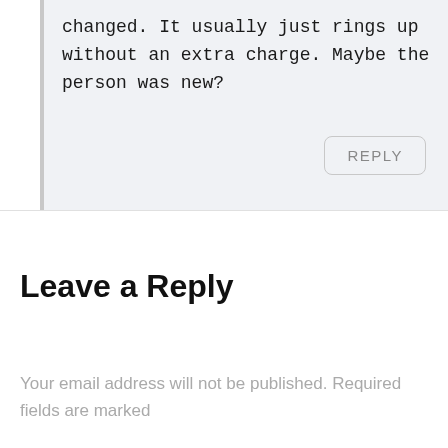changed. It usually just rings up without an extra charge. Maybe the person was new?
REPLY
Leave a Reply
Your email address will not be published. Required fields are marked